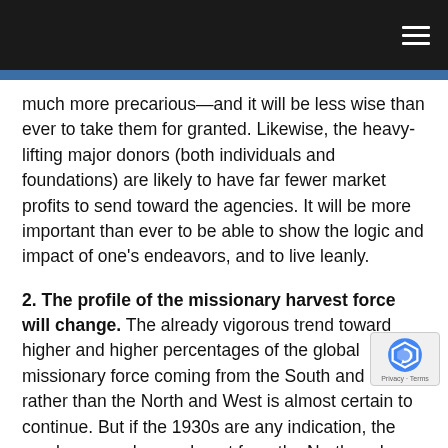much more precarious—and it will be less wise than ever to take them for granted. Likewise, the heavy-lifting major donors (both individuals and foundations) are likely to have far fewer market profits to send toward the agencies. It will be more important than ever to be able to show the logic and impact of one's endeavors, and to live leanly.
2. The profile of the missionary harvest force will change. The already vigorous trend toward higher and higher percentages of the global missionary force coming from the South and East rather than the North and West is almost certain to continue. But if the 1930s are any indication, the numbers may have a boost from the North and West as well. Harder economic times at home and a greater sense of seriousness about what is